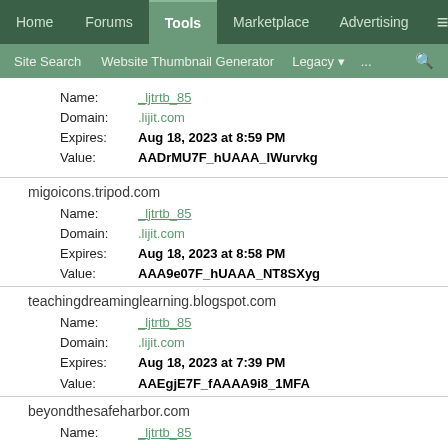Home | Forums | Tools | Marketplace | Advertising | ≡
Site Search | Website Thumbnail Generator | Legacy ▾ | ... | 🔍
Name: _ljtrtb_85
Domain: .lijit.com
Expires: Aug 18, 2023 at 8:59 PM
Value: AADrMU7F_hUAAA_IWurvkg
migoicons.tripod.com
Name: _ljtrtb_85
Domain: .lijit.com
Expires: Aug 18, 2023 at 8:58 PM
Value: AAA9e07F_hUAAA_NT8SXyg
teachingdreaminglearning.blogspot.com
Name: _ljtrtb_85
Domain: .lijit.com
Expires: Aug 18, 2023 at 7:39 PM
Value: AAEgjE7F_fAAAA9i8_1MFA
beyondthesafeharbor.com
Name: _ljtrtb_85
Domain: .lijit.com
Expires: Aug 18, 2023 at 4:56 PM
Value: AADjdU7F_aMAA9P8_1MFA